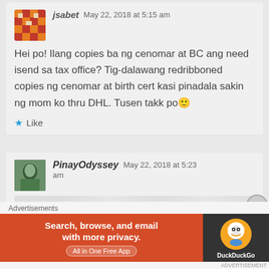jsabet   May 22, 2018 at 5:15 am
Hei po! Ilang copies ba ng cenomar at BC ang need isend sa tax office? Tig-dalawang redribboned copies ng cenomar at birth cert kasi pinadala sakin ng mom ko thru DHL. Tusen takk po🙂
Like
PinayOdyssey   May 22, 2018 at 5:23 am
[Figure (screenshot): Advertisement banner: DuckDuckGo app promotion - Search, browse, and email with more privacy. All in One Free App]